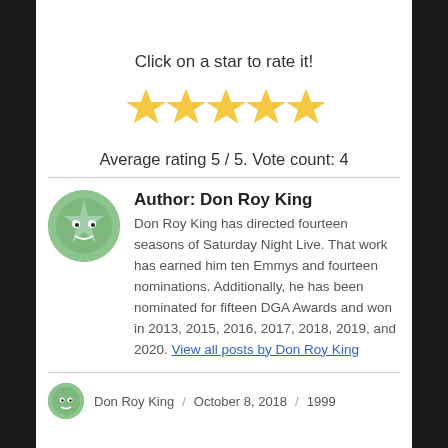Click on a star to rate it!
[Figure (other): Five filled gold star icons for rating]
Average rating 5 / 5. Vote count: 4
Author: Don Roy King
Don Roy King has directed fourteen seasons of Saturday Night Live. That work has earned him ten Emmys and fourteen nominations. Additionally, he has been nominated for fifteen DGA Awards and won in 2013, 2015, 2016, 2017, 2018, 2019, and 2020. View all posts by Don Roy King
Don Roy King / October 8, 2018 / 1999